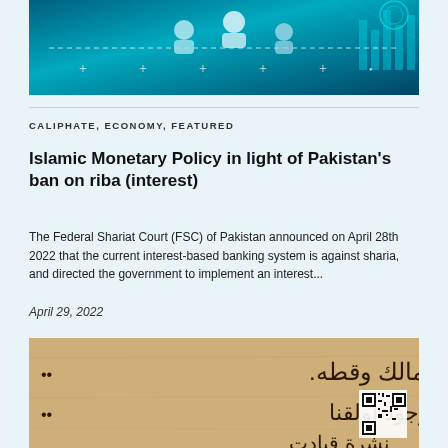[Figure (photo): A blue banner image with digital/network icons, showing silhouettes of people connected by dotted lines and plus signs on a teal/cyan gradient background with data charts]
CALIPHATE, ECONOMY, FEATURED
Islamic Monetary Policy in light of Pakistan's ban on riba (interest)
The Federal Shariat Court (FSC) of Pakistan announced on April 28th 2022 that the current interest-based banking system is against sharia, and directed the government to implement an interest...
April 29, 2022
[Figure (photo): A tan/beige aged document or paper with Arabic text handwritten or printed in dark ink, and a QR code visible in the lower right corner]